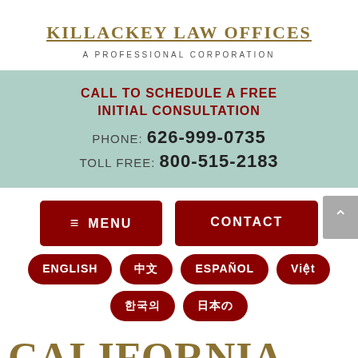KILLACKEY LAW OFFICES
A PROFESSIONAL CORPORATION
CALL TO SCHEDULE A FREE INITIAL CONSULTATION
PHONE: 626-999-0735
TOLL FREE: 800-515-2183
≡ MENU
CONTACT
ENGLISH
中文
ESPAÑOL
Việt
한국의
日本の
CALIFORNIA POLICE